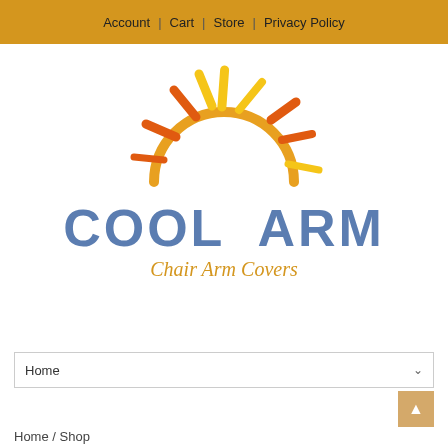Account | Cart | Store | Privacy Policy
[Figure (logo): Cool Arm Chair Arm Covers logo featuring a hand-drawn rising sun with orange and yellow rays above blue bold text COOL ARM and golden italic text Chair Arm Covers]
Home
Home / Shop